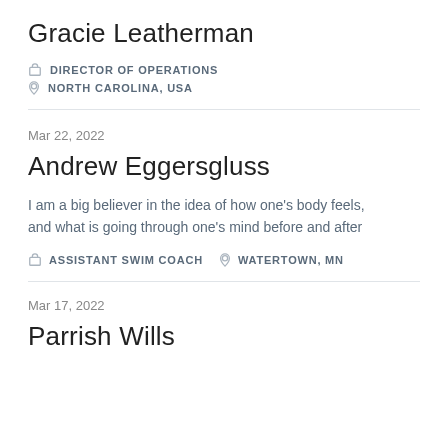Gracie Leatherman
DIRECTOR OF OPERATIONS
NORTH CAROLINA, USA
Mar 22, 2022
Andrew Eggersgluss
I am a big believer in the idea of how one's body feels, and what is going through one's mind before and after
ASSISTANT SWIM COACH   WATERTOWN, MN
Mar 17, 2022
Parrish Wills